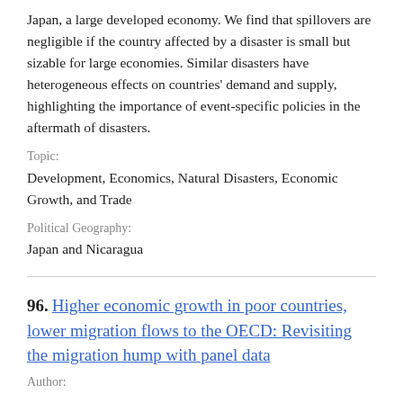Japan, a large developed economy. We find that spillovers are negligible if the country affected by a disaster is small but sizable for large economies. Similar disasters have heterogeneous effects on countries' demand and supply, highlighting the importance of event-specific policies in the aftermath of disasters.
Topic:
Development, Economics, Natural Disasters, Economic Growth, and Trade
Political Geography:
Japan and Nicaragua
96. Higher economic growth in poor countries, lower migration flows to the OECD: Revisiting the migration hump with panel data
Author: